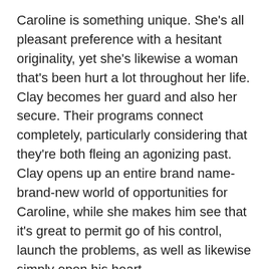Caroline is something unique. She's all pleasant preference with a hesitant originality, yet she's likewise a woman that's been hurt a lot throughout her life. Clay becomes her guard and also her secure. Their programs connect completely, particularly considering that they're both fleing an agonizing past. Clay opens up an entire brand name- brand-new world of opportunities for Caroline, while she makes him see that it's great to permit go of his control, launch the problems, as well as likewise simply open his heart.
Clay along with Caroline stimulated the web pages with their effective chemistry. You may feel it in waves. It used me goosebumps. Oh pleasant Moses, did Harper Sloan have this book completely embeded her sleeve. As they mention, preserving the greatest for last, definitely!